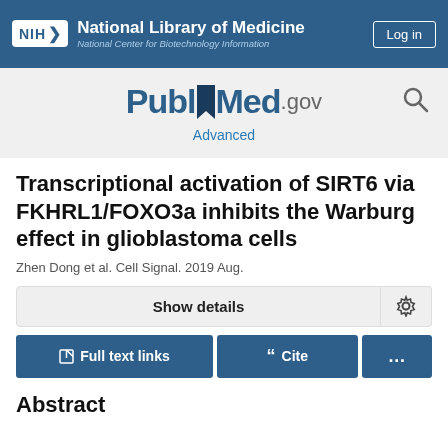NIH National Library of Medicine National Center for Biotechnology Information
[Figure (logo): PubMed.gov logo with search icon and Advanced link]
Transcriptional activation of SIRT6 via FKHRL1/FOXO3a inhibits the Warburg effect in glioblastoma cells
Zhen Dong et al. Cell Signal. 2019 Aug.
Show details
Full text links  Cite  ...
Abstract